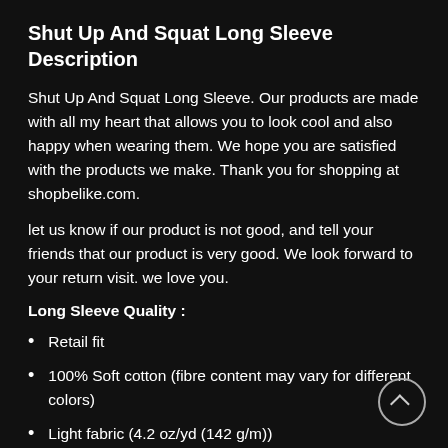Shut Up And Squat Long Sleeve Description
Shut Up And Squat Long Sleeve. Our products are made with all my heart that allows you to look cool and also happy when wearing them. We hope you are satisfied with the products we make. Thank you for shopping at shopbelike.com.
let us know if our product is not good, and tell your friends that our product is very good. We look forward to your return visit. we love you.
Long Sleeve Quality :
Retail fit
100% Soft cotton (fibre content may vary for different colors)
Light fabric (4.2 oz/yd (142 g/m))